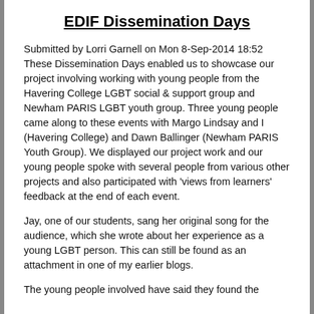EDIF Dissemination Days
Submitted by Lorri Garnell on Mon 8-Sep-2014 18:52 These Dissemination Days enabled us to showcase our project involving working with young people from the Havering College LGBT social & support group and Newham PARIS LGBT youth group. Three young people came along to these events with Margo Lindsay and I (Havering College) and Dawn Ballinger (Newham PARIS Youth Group). We displayed our project work and our young people spoke with several people from various other projects and also participated with 'views from learners' feedback at the end of each event.
Jay, one of our students, sang her original song for the audience, which she wrote about her experience as a young LGBT person. This can still be found as an attachment in one of my earlier blogs.
The young people involved have said they found the